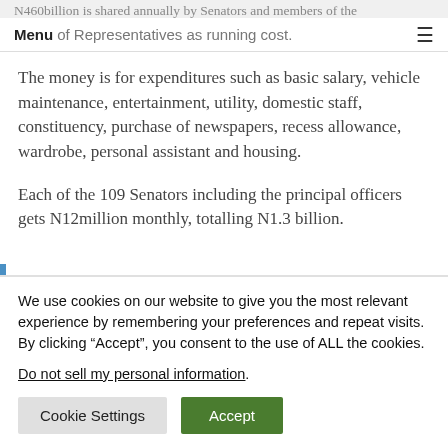N460billion is shared annually by Senators and members of the House of Representatives as running cost.
The money is for expenditures such as basic salary, vehicle maintenance, entertainment, utility, domestic staff, constituency, purchase of newspapers, recess allowance, wardrobe, personal assistant and housing.
Each of the 109 Senators including the principal officers gets N12million monthly, totalling N1.3 billion.
We use cookies on our website to give you the most relevant experience by remembering your preferences and repeat visits. By clicking “Accept”, you consent to the use of ALL the cookies.
Do not sell my personal information.